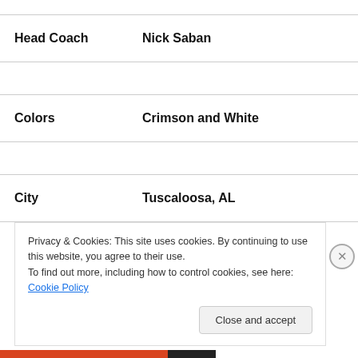| Head Coach | Nick Saban |
| Colors | Crimson and White |
| City | Tuscaloosa, AL |
Privacy & Cookies: This site uses cookies. By continuing to use this website, you agree to their use.
To find out more, including how to control cookies, see here: Cookie Policy
Close and accept